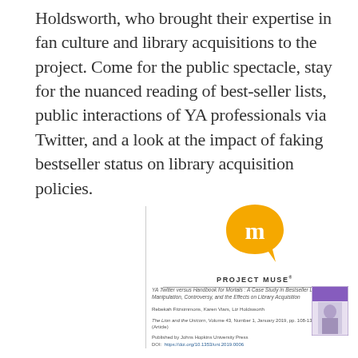Holdsworth, who brought their expertise in fan culture and library acquisitions to the project. Come for the public spectacle, stay for the nuanced reading of best-seller lists, public interactions of YA professionals via Twitter, and a look at the impact of faking bestseller status on library acquisition policies.
[Figure (logo): Project MUSE logo — yellow speech-bubble shape with white letter m, and 'PROJECT MUSE' text below with trademark symbol]
YA Twitter versus Handbook for Mortals : A Case Study in Bestseller List Manipulation, Controversy, and the Effects on Library Acquisition
Rebekah Fitzsimmons, Karen Viars, Liz Holdsworth
The Lion and the Unicorn, Volume 43, Number 1, January 2019, pp. 108-132 (Article)
Published by Johns Hopkins University Press
DOI: https://doi.org/10.1353/uni.2019.0006